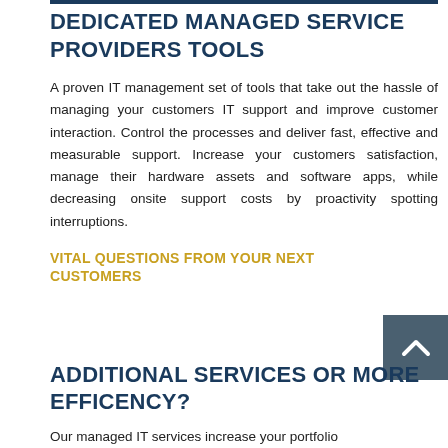DEDICATED MANAGED SERVICE PROVIDERS TOOLS
A proven IT management set of tools that take out the hassle of managing your customers IT support and improve customer interaction. Control the processes and deliver fast, effective and measurable support. Increase your customers satisfaction, manage their hardware assets and software apps, while decreasing onsite support costs by proactivity spotting interruptions.
VITAL QUESTIONS FROM YOUR NEXT CUSTOMERS
ADDITIONAL SERVICES OR MORE EFFICENCY?
Our managed IT services increase your portfolio